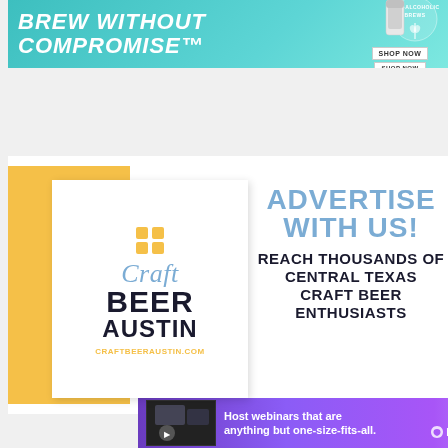[Figure (infographic): Top banner advertisement with teal/turquoise background. Bold white italic text reads 'BREW WITHOUT COMPROMISE'. Right side has a circular logo for 'NON-ALCOHOLIC BREWS' with wheat graphic and product can image. 'SHOP NOW' button in white.]
[Figure (infographic): Craft Beer Austin advertisement. Left side: yellow background panel with white card showing Craft Beer Austin logo (blue script 'Craft', bold dark 'BEER AUSTIN', yellow icon, craftbeeraustin.com URL). Right side: text 'ADVERTISE WITH US!' in blue, and 'REACH THOUSANDS OF CENTRAL TEXAS CRAFT BEER ENTHUSIASTS' in dark bold.]
[Figure (infographic): Bottom banner advertisement with purple gradient background. Thumbnail image on left. Text: 'Host webinars that are anything but one-size-fits-all.' BigMarker logo with infinity symbol on right.]